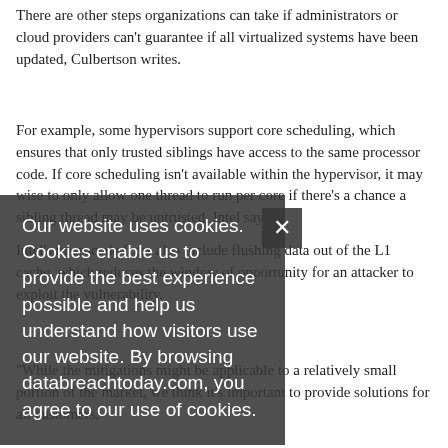There are other steps organizations can take if administrators or cloud providers can't guarantee if all virtualized systems have been updated, Culbertson writes.
For example, some hypervisors support core scheduling, which ensures that only trusted siblings have access to the same processor code. If core scheduling isn't available within the hypervisor, it may wise to only allow one thread to run per core if there's a chance a sibling thread may be untrusted, Intel says.
Intel's microcode fixes also include flushing data out of the L1 cache, which reduces the window of opportunity for an attacker to exploit the vulnerability.
"While the mitigations might be applicable to a relatively small portion of the market, we think it's important to provide solutions for all customers," Culbertson
Our website uses cookies. Cookies enable us to provide the best experience possible and help us understand how visitors use our website. By browsing databreachtoday.com, you agree to our use of cookies.